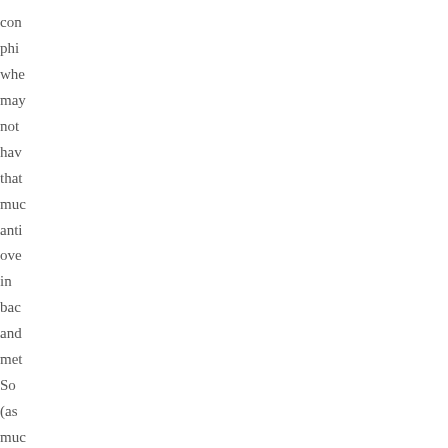con
phi
whe
ma
not
hav
that
mu
ant
ove
in
bac
and
me
So
(as
mu
as
pos
it's
ver
imp
to